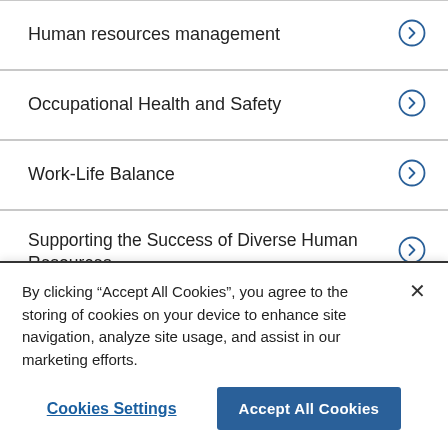Human resources management
Occupational Health and Safety
Work-Life Balance
Supporting the Success of Diverse Human Resources
Relationship between Employers and Employees
By clicking “Accept All Cookies”, you agree to the storing of cookies on your device to enhance site navigation, analyze site usage, and assist in our marketing efforts.
Cookies Settings | Accept All Cookies